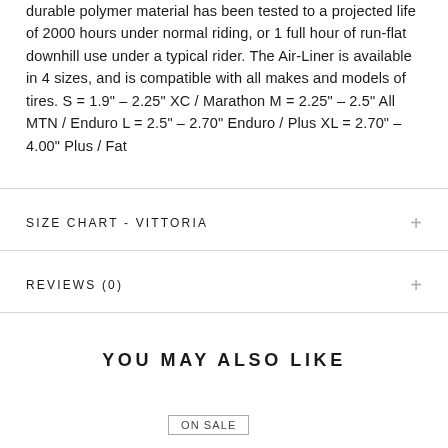durable polymer material has been tested to a projected life of 2000 hours under normal riding, or 1 full hour of run-flat downhill use under a typical rider. The Air-Liner is available in 4 sizes, and is compatible with all makes and models of tires. S = 1.9" – 2.25" XC / Marathon M = 2.25" – 2.5" All MTN / Enduro L = 2.5" – 2.70" Enduro / Plus XL = 2.70" – 4.00" Plus / Fat
SIZE CHART - VITTORIA
REVIEWS (0)
YOU MAY ALSO LIKE
ON SALE